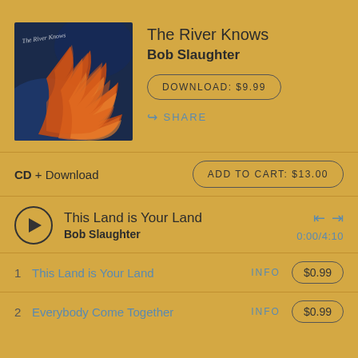[Figure (illustration): Album art for 'The River Knows' showing abstract swirling orange and red flame-like patterns against a dark blue background with text 'The River Knows' in white script]
The River Knows
Bob Slaughter
DOWNLOAD: $9.99
SHARE
CD + Download
ADD TO CART: $13.00
This Land is Your Land
Bob Slaughter
0:00/4:10
1  This Land is Your Land  INFO  $0.99
2  Everybody Come Together  INFO  $0.99